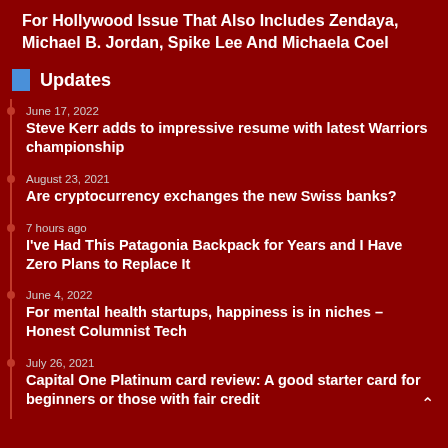For Hollywood Issue That Also Includes Zendaya, Michael B. Jordan, Spike Lee And Michaela Coel
Updates
June 17, 2022
Steve Kerr adds to impressive resume with latest Warriors championship
August 23, 2021
Are cryptocurrency exchanges the new Swiss banks?
7 hours ago
I've Had This Patagonia Backpack for Years and I Have Zero Plans to Replace It
June 4, 2022
For mental health startups, happiness is in niches – Honest Columnist Tech
July 26, 2021
Capital One Platinum card review: A good starter card for beginners or those with fair credit